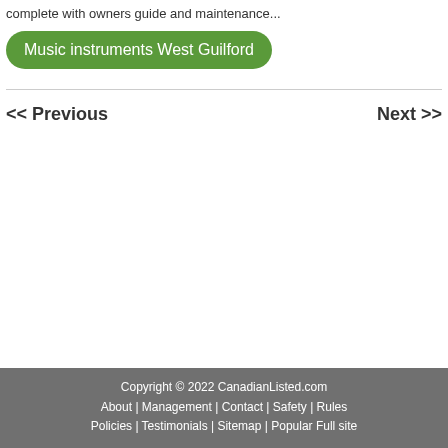complete with owners guide and maintenance...
Music instruments West Guilford
<< Previous
Next >>
Copyright © 2022 CanadianListed.com | About | Management | Contact | Safety | Rules | Policies | Testimonials | Sitemap | Popular Full site